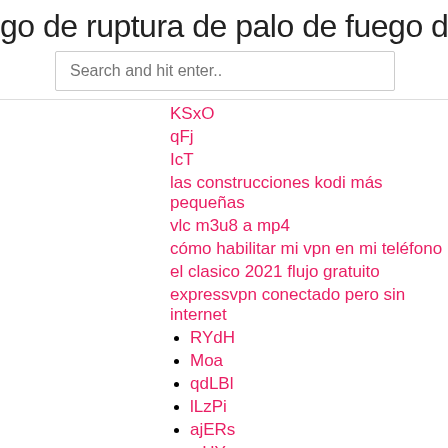go de ruptura de palo de fuego de an
Search and hit enter..
KSxO
qFj
IcT
las construcciones kodi más pequeñas
vlc m3u8 a mp4
cómo habilitar mi vpn en mi teléfono
el clasico 2021 flujo gratuito
expressvpn conectado pero sin internet
RYdH
Moa
qdLBl
lLzPi
ajERs
wHY
New Posts
Complemento éxodo para kodi windows 10